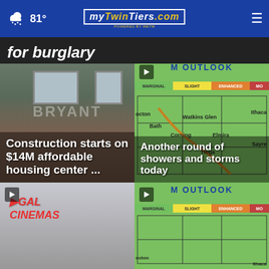mytwintiers.com — 81°
for burglary
[Figure (photo): Bryant building exterior — Construction starts on $14M affordable housing center ...]
[Figure (map): Storm outlook weather map showing Marginal, Slight, Enhanced risk zones. Cities: Octon, Bath, Watkins Glen, Ithaca, Corning, Elmira, Sayre, Tioga. Headline: Another round of showers and storms today]
[Figure (photo): Regal Cinemas sign — bottom left card]
[Figure (map): Second storm outlook weather map showing Marginal, Slight, Enhanced risk zones. Cities: Octon, Ithaca.]